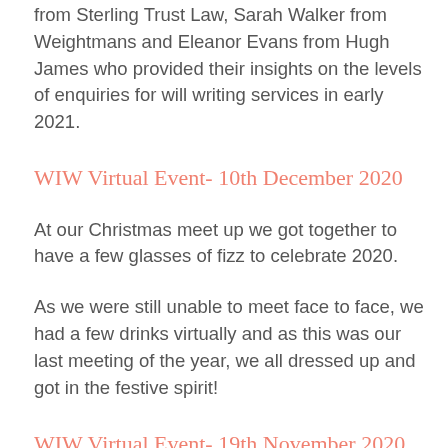from Sterling Trust Law, Sarah Walker from Weightmans and Eleanor Evans from Hugh James who provided their insights on the levels of enquiries for will writing services in early 2021.
WIW Virtual Event- 10th December 2020
At our Christmas meet up we got together to have a few glasses of fizz to celebrate 2020.
As we were still unable to meet face to face, we had a few drinks virtually and as this was our last meeting of the year, we all dressed up and got in the festive spirit!
WIW Virtual Event- 19th November 2020